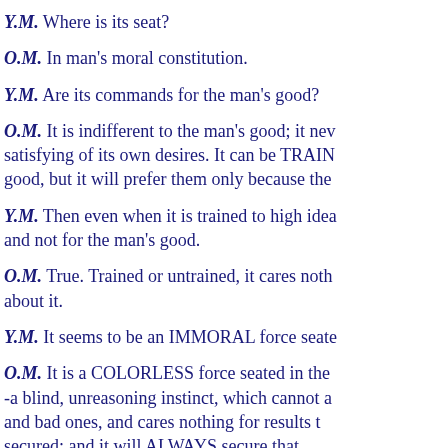Y.M. Where is its seat?
O.M. In man's moral constitution.
Y.M. Are its commands for the man's good?
O.M. It is indifferent to the man's good; it nev- satisfying of its own desires. It can be TRAIN- good, but it will prefer them only because the-
Y.M. Then even when it is trained to high idea- and not for the man's good.
O.M. True. Trained or untrained, it cares noth- about it.
Y.M. It seems to be an IMMORAL force seate-
O.M. It is a COLORLESS force seated in the- -a blind, unreasoning instinct, which cannot a- and bad ones, and cares nothing for results t- secured; and it will ALWAYS secure that.
Y.M. It seeks money, and it probably consider-
O.M. It is not always seeking money, it is not- MATERIAL advantage. In ALL cases it seeks- what they may. Its desires are determined by- Temperament, Conscience, Susceptibility, Sp-